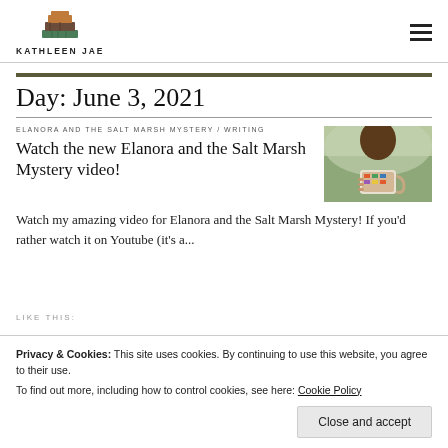KATHLEEN JAE
Day: June 3, 2021
ELANORA AND THE SALT MARSH MYSTERY / WRITING
Watch the new Elanora and the Salt Marsh Mystery video!
[Figure (photo): Woman holding a colorful mug outdoors with blurred background]
Watch my amazing video for Elanora and the Salt Marsh Mystery! If you'd rather watch it on Youtube (it's a...
Privacy & Cookies: This site uses cookies. By continuing to use this website, you agree to their use.
To find out more, including how to control cookies, see here: Cookie Policy
Close and accept
LIKE THIS: